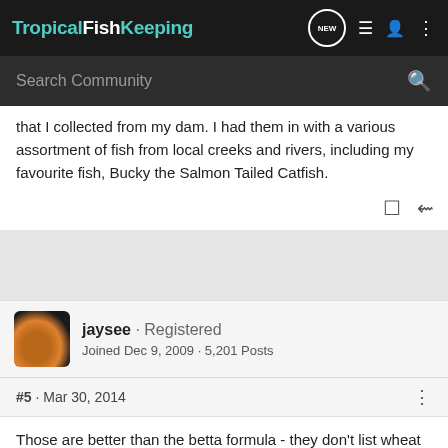TropicalFishKeeping
that I collected from my dam. I had them in with a various assortment of fish from local creeks and rivers, including my favourite fish, Bucky the Salmon Tailed Catfish.
jaysee · Registered
Joined Dec 9, 2009 · 5,201 Posts
#5 · Mar 30, 2014
Those are better than the betta formula - they don't list wheat 3 times. The carnivore pellets have krill in them, though the food is still dyed with coloring.